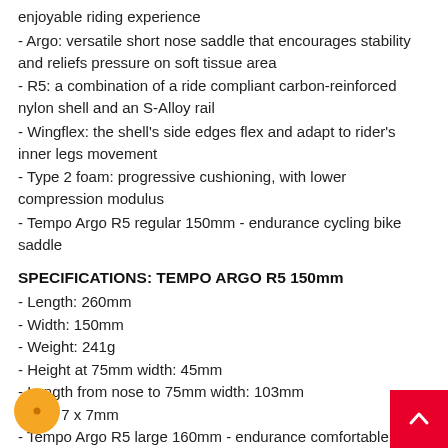enjoyable riding experience
- Argo: versatile short nose saddle that encourages stability and reliefs pressure on soft tissue area
- R5: a combination of a ride compliant carbon-reinforced nylon shell and an S-Alloy rail
- Wingflex: the shell's side edges flex and adapt to rider's inner legs movement
- Type 2 foam: progressive cushioning, with lower compression modulus
- Tempo Argo R5 regular 150mm - endurance cycling bike saddle
SPECIFICATIONS: TEMPO ARGO R5 150mm
- Length: 260mm
- Width: 150mm
- Weight: 241g
- Height at 75mm width: 45mm
- Length from nose to 75mm width: 103mm
- Rail: 7 x 7mm
- Tempo Argo R5 large 160mm - endurance comfortable road cycling saddle
SPECIFICATIONS: TEMPO ARGO R5 160mm